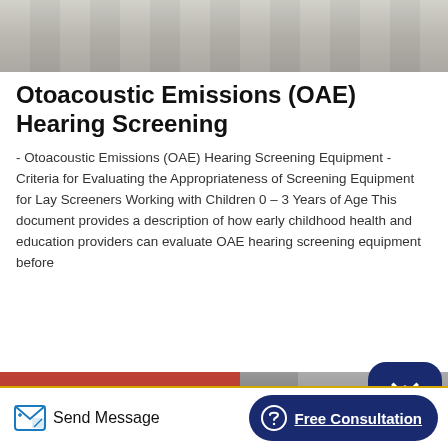[Figure (photo): Top portion of a photo, appears to be industrial or equipment-related, gray tones]
Otoacoustic Emissions (OAE) Hearing Screening
- Otoacoustic Emissions (OAE) Hearing Screening Equipment - Criteria for Evaluating the Appropriateness of Screening Equipment for Lay Screeners Working with Children 0 – 3 Years of Age This document provides a description of how early childhood health and education providers can evaluate OAE hearing screening equipment before
[Figure (photo): Industrial warehouse photo showing stacked red and cream/white colored equipment or crates in a large steel-framed building]
Send Message   Free Consultation